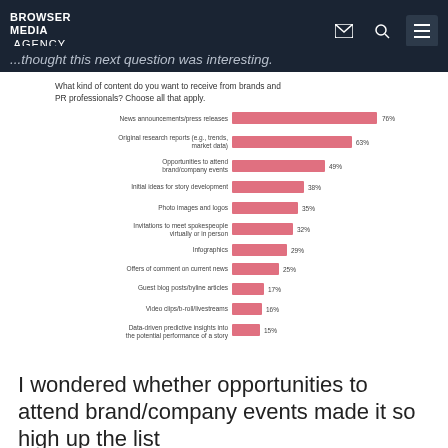BROWSER MEDIA .AGENCY
...thought this next question was interesting.
What kind of content do you want to receive from brands and PR professionals? Choose all that apply.
[Figure (bar-chart): What kind of content do you want to receive from brands and PR professionals? Choose all that apply.]
I wondered whether opportunities to attend brand/company events made it so high up the list